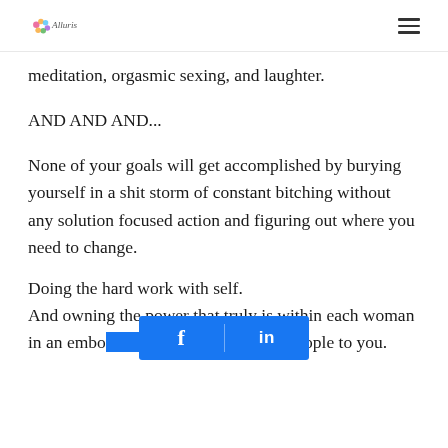Alluris [logo]
meditation, orgasmic sexing, and laughter.
AND AND AND...
None of your goals will get accomplished by burying yourself in a shit storm of constant bitching without any solution focused action and figuring out where you need to change.
Doing the hard work with self.
And owning the power that truly is within each woman in an embodied way that magnetizes people to you.
[Figure (other): Social share bar overlay showing Facebook (f) and LinkedIn (in) icons in blue]